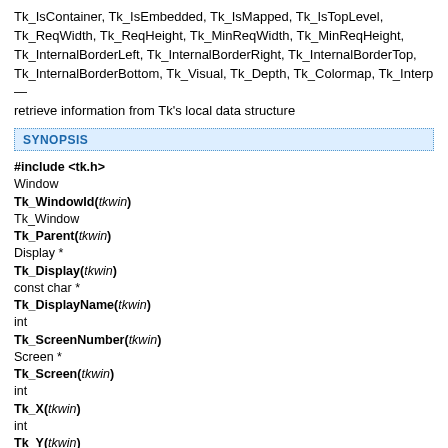Tk_IsContainer, Tk_IsEmbedded, Tk_IsMapped, Tk_IsTopLevel, Tk_ReqWidth, Tk_ReqHeight, Tk_MinReqWidth, Tk_MinReqHeight, Tk_InternalBorderLeft, Tk_InternalBorderRight, Tk_InternalBorderTop, Tk_InternalBorderBottom, Tk_Visual, Tk_Depth, Tk_Colormap, Tk_Interp — retrieve information from Tk's local data structure
SYNOPSIS
#include <tk.h>
Window
Tk_WindowId(tkwin)
Tk_Window
Tk_Parent(tkwin)
Display *
Tk_Display(tkwin)
const char *
Tk_DisplayName(tkwin)
int
Tk_ScreenNumber(tkwin)
Screen *
Tk_Screen(tkwin)
int
Tk_X(tkwin)
int
Tk_Y(tkwin)
int
Tk_Width(tkwin)
int
Tk_Height(tkwin)
XWindowChanges *